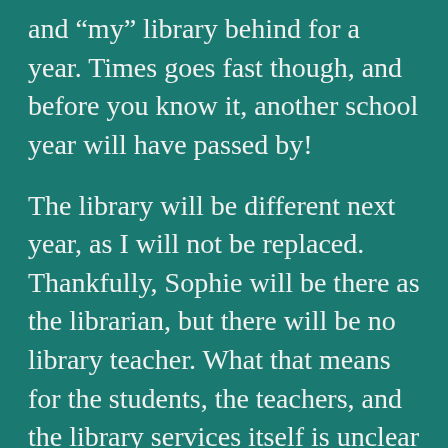and “my” library behind for a year. Times goes fast though, and before you know it, another school year will have passed by!
The library will be different next year, as I will not be replaced. Thankfully, Sophie will be there as the librarian, but there will be no library teacher. What that means for the students, the teachers, and the library services itself is unclear at the moment. More information will follow at the start of the new school year. We hope that, when my study leave is finished, I can come back to my role as the library teacher, but that hasn’t been confirmed. The library will be there, that is not going to change. And there